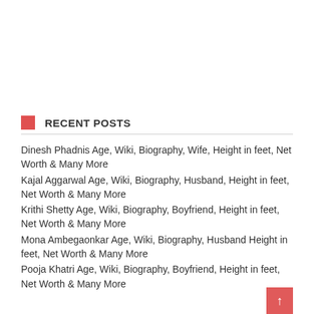RECENT POSTS
Dinesh Phadnis Age, Wiki, Biography, Wife, Height in feet, Net Worth & Many More
Kajal Aggarwal Age, Wiki, Biography, Husband, Height in feet, Net Worth & Many More
Krithi Shetty Age, Wiki, Biography, Boyfriend, Height in feet, Net Worth & Many More
Mona Ambegaonkar Age, Wiki, Biography, Husband Height in feet, Net Worth & Many More
Pooja Khatri Age, Wiki, Biography, Boyfriend, Height in feet, Net Worth & Many More